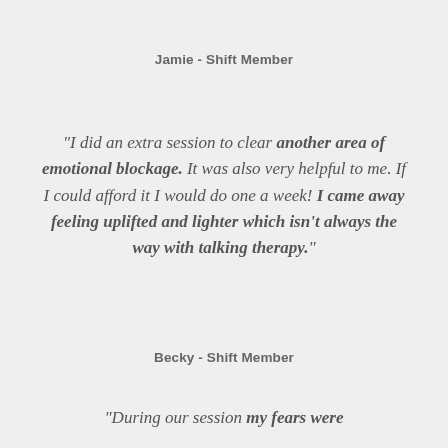Jamie - Shift Member
"I did an extra session to clear another area of emotional blockage. It was also very helpful to me. If I could afford it I would do one a week! I came away feeling uplifted and lighter which isn't always the way with talking therapy."
Becky - Shift Member
"During our session my fears were